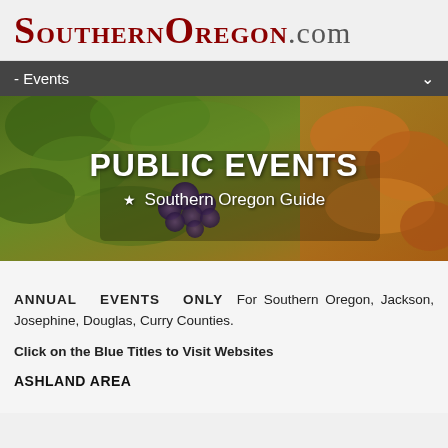SOUTHERNOREGON.com
- Events
[Figure (photo): Hero banner showing grape vines with leaves in autumn colors, with 'PUBLIC EVENTS ★ Southern Oregon Guide' text overlay]
ANNUAL EVENTS ONLY For Southern Oregon, Jackson, Josephine, Douglas, Curry Counties.
Click on the Blue Titles to Visit Websites
ASHLAND AREA